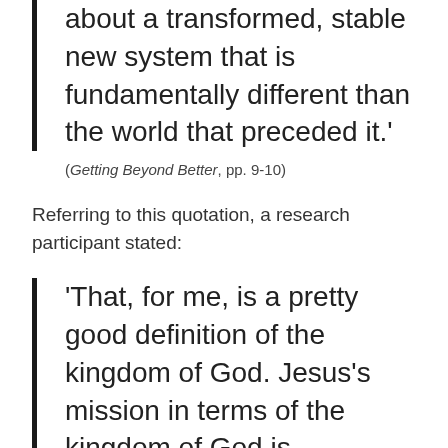about a transformed, stable new system that is fundamentally different than the world that preceded it.'
(Getting Beyond Better, pp. 9-10)
Referring to this quotation, a research participant stated:
'That, for me, is a pretty good definition of the kingdom of God. Jesus's mission in terms of the kingdom of God is